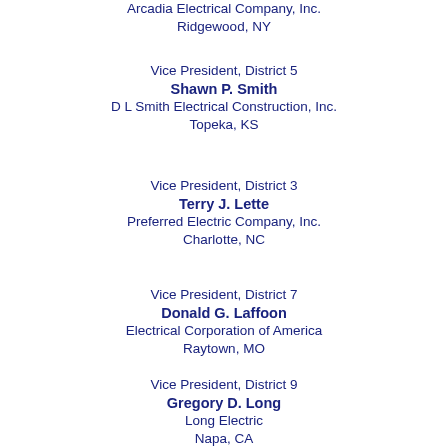Arcadia Electrical Company, Inc.
Ridgewood, NY
Vice President, District 5
Shawn P. Smith
D L Smith Electrical Construction, Inc.
Topeka, KS
Vice President, District 3
Terry J. Lette
Preferred Electric Company, Inc.
Charlotte, NC
Vice President, District 7
Donald G. Laffoon
Electrical Corporation of America
Raytown, MO
Vice President, District 9
Gregory D. Long
Long Electric
Napa, CA